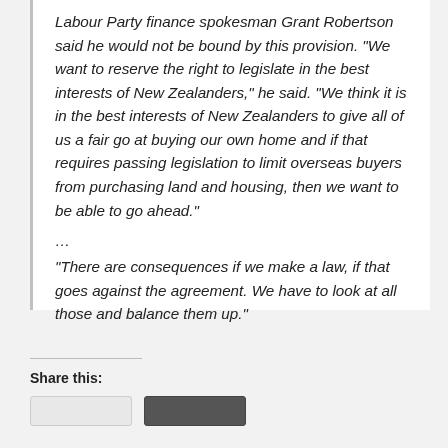Labour Party finance spokesman Grant Robertson said he would not be bound by this provision. “We want to reserve the right to legislate in the best interests of New Zealanders,” he said. “We think it is in the best interests of New Zealanders to give all of us a fair go at buying our own home and if that requires passing legislation to limit overseas buyers from purchasing land and housing, then we want to be able to go ahead.”
…
“There are consequences if we make a law, if that goes against the agreement. We have to look at all those and balance them up.”
Share this: